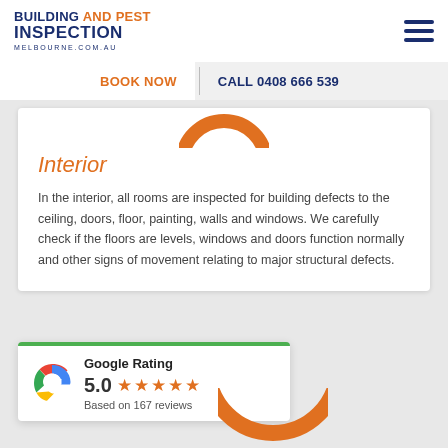[Figure (logo): Building and Pest Inspection Melbourne logo with orange and navy text]
[Figure (other): Hamburger menu icon with three horizontal lines]
BOOK NOW   CALL 0408 666 539
[Figure (other): Orange semi-circle arc decorative element at top of interior card]
Interior
In the interior, all rooms are inspected for building defects to the ceiling, doors, floor, painting, walls and windows. We carefully check if the floors are levels, windows and doors function normally and other signs of movement relating to major structural defects.
[Figure (other): Google G logo in multicolor (red, yellow, green, blue)]
Google Rating 5.0 ★★★★★ Based on 167 reviews